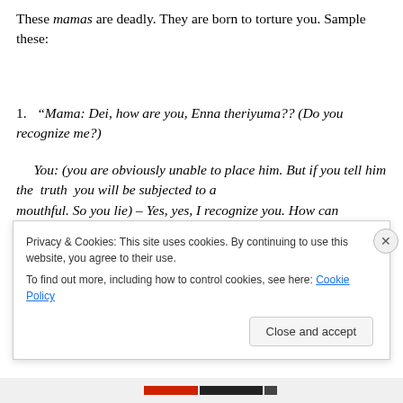These mamas are deadly. They are born to torture you. Sample these:
1. “Mama: Dei, how are you, Enna theriyuma?? (Do you recognize me?)
You: (you are obviously unable to place him. But if you tell him the truth you will be subjected to a mouthful. So you lie) – Yes, yes, I recognize you. How can
Privacy & Cookies: This site uses cookies. By continuing to use this website, you agree to their use.
To find out more, including how to control cookies, see here: Cookie Policy
Close and accept